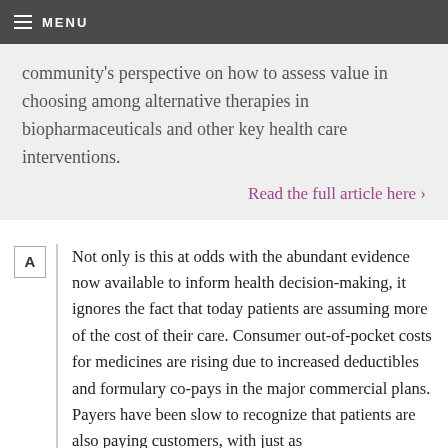MENU
community's perspective on how to assess value in choosing among alternative therapies in biopharmaceuticals and other key health care interventions.
Read the full article here ›
A  Not only is this at odds with the abundant evidence now available to inform health decision-making, it ignores the fact that today patients are assuming more of the cost of their care. Consumer out-of-pocket costs for medicines are rising due to increased deductibles and formulary co-pays in the major commercial plans. Payers have been slow to recognize that patients are also paying customers, with just as